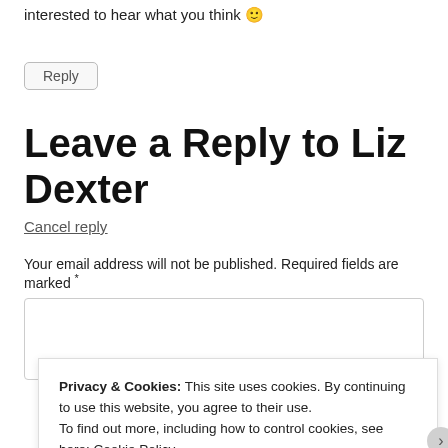I'm interested to hear what you think 🙂
Reply
Leave a Reply to Liz Dexter
Cancel reply
Your email address will not be published. Required fields are marked *
Privacy & Cookies: This site uses cookies. By continuing to use this website, you agree to their use. To find out more, including how to control cookies, see here: Cookie Policy
Close and accept